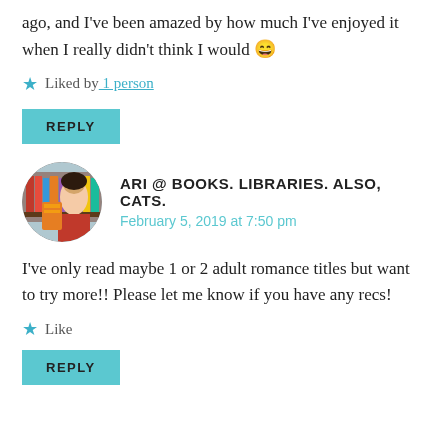ago, and I've been amazed by how much I've enjoyed it when I really didn't think I would 😄
★ Liked by 1 person
REPLY
ARI @ BOOKS. LIBRARIES. ALSO, CATS.
February 5, 2019 at 7:50 pm
I've only read maybe 1 or 2 adult romance titles but want to try more!! Please let me know if you have any recs!
★ Like
REPLY